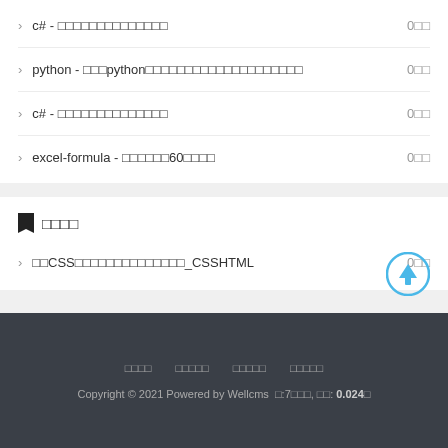c# - □□□□□□□□□□□□□□ 0□□
python - □□□python□□□□□□□□□□□□□□□□□□□□ 0□□
c# - □□□□□□□□□□□□□□ 0□□
excel-formula - □□□□□□60□□□□ 0□□
□□□□
□□CSS□□□□□□□□□□□□□□_CSSHTML 0□□
□□□□  □□□□□  □□□□□  □□□□□
Copyright © 2021 Powered by Wellcms  □:7□□□, □□: 0.024□